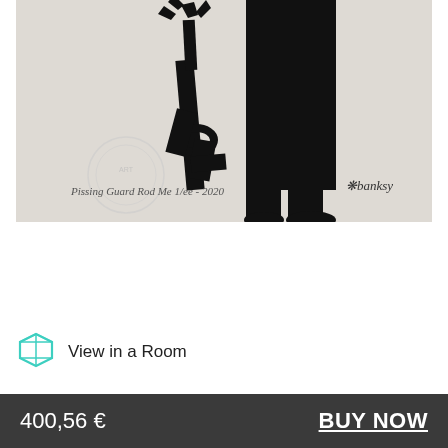[Figure (photo): Banksy artwork 'Pissing Guard Rod Me 1/ee 2020' showing a silhouetted guard figure with machine gun, signed by Banksy. Black silhouette on light grey/cream paper with handwritten title and signature.]
View in a Room
Categories   Screen Print   Street Art
400,56 €
BUY NOW